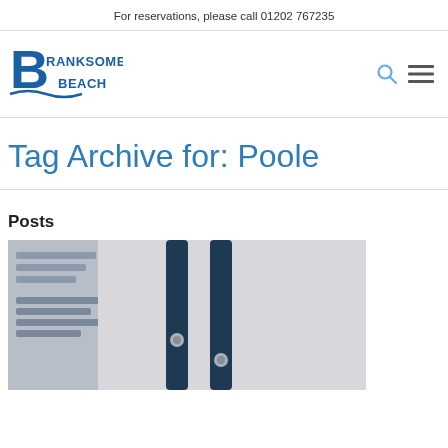For reservations, please call 01202 767235
[Figure (logo): Branksome Beach logo — stylized blue B with wave and text BRANKSOME BEACH]
Tag Archive for: Poole
Posts
[Figure (photo): Partial photo showing dark navy blue straps or handles of a beach bag/chair against a light grey background, with a blurred preview on the left side]